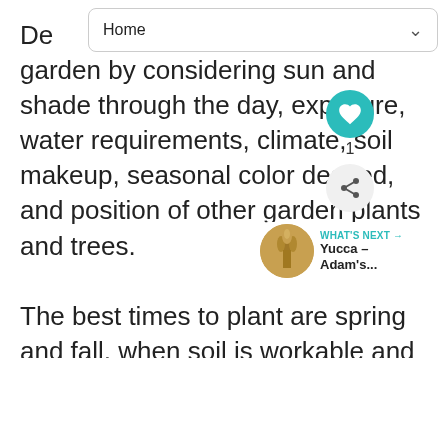Home
De… garden by considering sun and shade through the day, exposure, water requirements, climate, soil makeup, seasonal color desired, and position of other garden plants and trees.
The best times to plant are spring and fall, when soil is workable and out of danger of frost. Fall plantings have the advantage that roots can develop and not have to compete with developing top growth as in the spring. Spring is more desirable for perennials that dislike wet conditions or for colder areas, allowing full establishment before fir… Planting in summer or winter is not ad…ble for most plants, unless planting a more
[Figure (other): Heart/favorite button (teal circle with white heart icon), share button, and a 'What's Next' card showing Yucca – Adam's... with a thumbnail image]